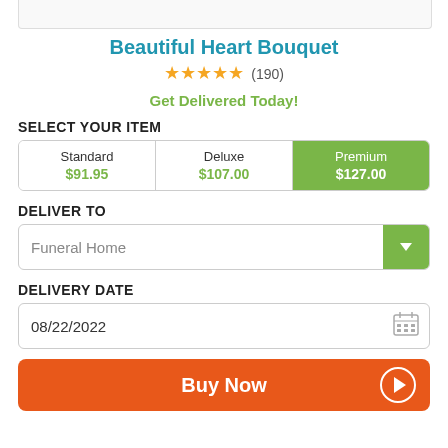[Figure (photo): Top portion of product image (cropped)]
Beautiful Heart Bouquet
★★★★★ (190)
Get Delivered Today!
SELECT YOUR ITEM
| Standard | Deluxe | Premium |
| --- | --- | --- |
| $91.95 | $107.00 | $127.00 |
DELIVER TO
Funeral Home
DELIVERY DATE
08/22/2022
Buy Now